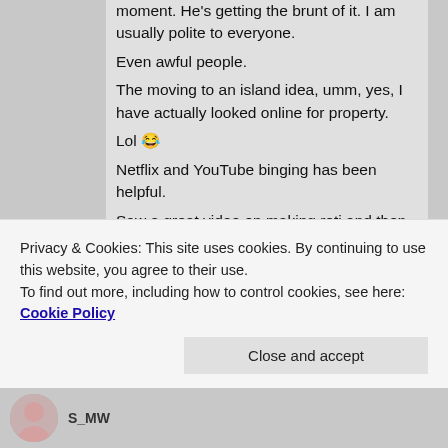moment. He's getting the brunt of it. I am usually polite to everyone.
Even awful people.
The moving to an island idea, umm, yes, I have actually looked online for property.
Lol 😂
Netflix and YouTube binging has been helpful.
Saw a great video on making roti and then burst into tears when I read in the comments that the guy had died of Covid 19. That was yesterday.
Thank you for working especially at a time such as now. I appreciate what you do.
Thanks for getting me. ❤
Privacy & Cookies: This site uses cookies. By continuing to use this website, you agree to their use.
To find out more, including how to control cookies, see here: Cookie Policy
Close and accept
S_MW